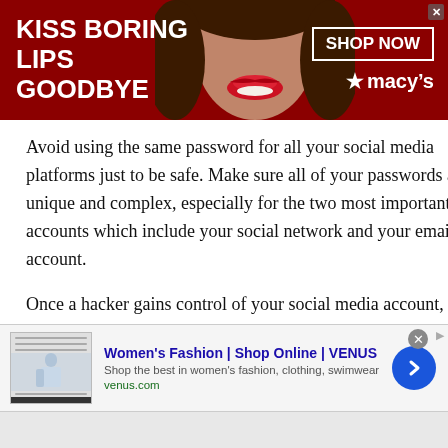[Figure (screenshot): Top advertising banner with dark red background showing a woman's face with red lipstick. Left text reads 'KISS BORING LIPS GOODBYE' in white bold uppercase. Right side has a 'SHOP NOW' button outline and Macy's star logo.]
Avoid using the same password for all your social media platforms just to be safe. Make sure all of your passwords are unique and complex, especially for the two most important accounts which include your social network and your email account.
Once a hacker gains control of your social media account, your friends can also be scammed on the internet. Hence, a strong password is not just necessary for your safety, but also for the safety of your friends and contacts.
[Figure (screenshot): Bottom advertisement for Women's Fashion from VENUS. Shows a thumbnail of a fashion website, title in blue 'Women's Fashion | Shop Online | VENUS', description text 'Shop the best in women's fashion, clothing, swimwear', URL 'venus.com' in green, and a blue circular arrow button on the right.]